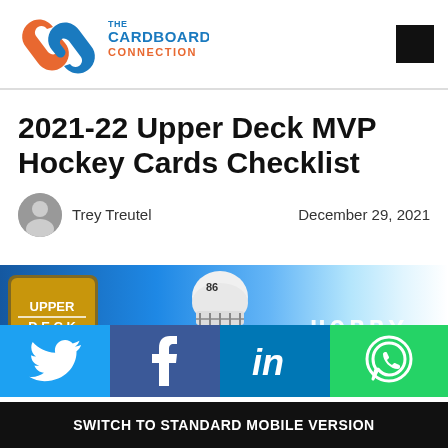[Figure (logo): The Cardboard Connection logo with chain link icon in blue and orange]
2021-22 Upper Deck MVP Hockey Cards Checklist
Trey Treutel   December 29, 2021
[Figure (photo): 2021-22 Upper Deck MVP Hockey hobby box banner with Upper Deck logo and hockey player wearing #86]
[Figure (infographic): Social share buttons: Twitter, Facebook, LinkedIn, WhatsApp]
SWITCH TO STANDARD MOBILE VERSION